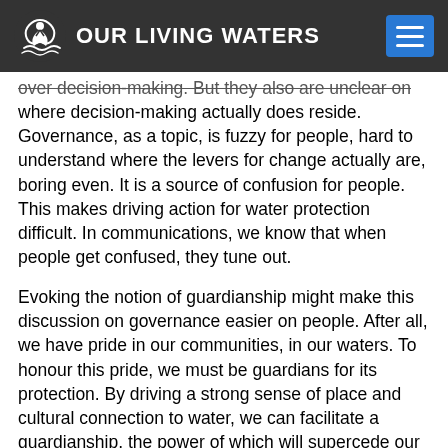OUR LIVING WATERS
over decision-making. But they also are unclear on where decision-making actually does reside. Governance, as a topic, is fuzzy for people, hard to understand where the levers for change actually are, boring even. It is a source of confusion for people. This makes driving action for water protection difficult. In communications, we know that when people get confused, they tune out.
Evoking the notion of guardianship might make this discussion on governance easier on people. After all, we have pride in our communities, in our waters. To honour this pride, we must be guardians for its protection. By driving a strong sense of place and cultural connection to water, we can facilitate a guardianship, the power of which will supercede our